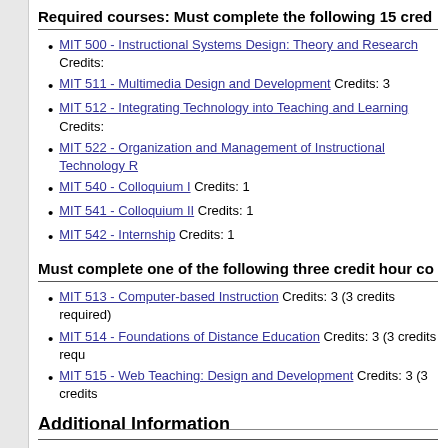Required courses: Must complete the following 15 cred
MIT 500 - Instructional Systems Design: Theory and Research Credits:
MIT 511 - Multimedia Design and Development Credits: 3
MIT 512 - Integrating Technology into Teaching and Learning Credits:
MIT 522 - Organization and Management of Instructional Technology R
MIT 540 - Colloquium I Credits: 1
MIT 541 - Colloquium II Credits: 1
MIT 542 - Internship Credits: 1
Must complete one of the following three credit hour co
MIT 513 - Computer-based Instruction Credits: 3 (3 credits required)
MIT 514 - Foundations of Distance Education Credits: 3 (3 credits requ
MIT 515 - Web Teaching: Design and Development Credits: 3 (3 credits
Additional Information
Note that credit for courses taken in the certificate program are part of the approve Technology (MIT) program.